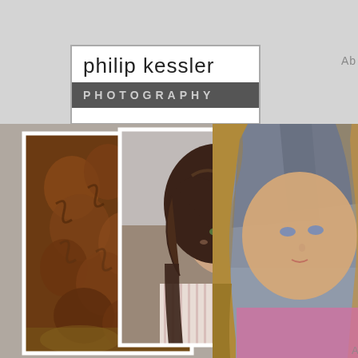[Figure (logo): Philip Kessler Photography logo: white box with text 'philip kessler' in light gray thin font on top, dark gray bar with 'PHOTOGRAPHY' in spaced caps below]
Ab
[Figure (photo): Three overlapping portrait photos of women: left photo shows close-up of curly auburn/brown hair; middle photo shows a woman with wavy brunette hair and green eyes looking over her shoulder, wearing a striped top; right photo shows a young woman with long blonde-brown hair and light eyes looking at camera, wearing pink, bokeh urban background]
A